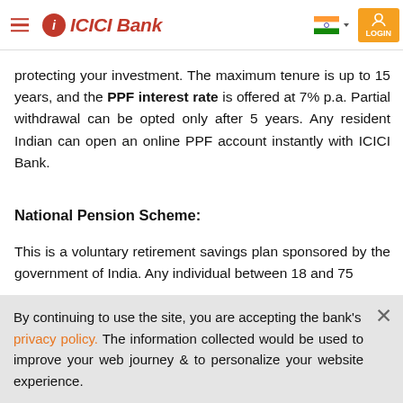ICICI Bank - hamburger menu, logo, India flag, LOGIN
protecting your investment. The maximum tenure is up to 15 years, and the PPF interest rate is offered at 7% p.a. Partial withdrawal can be opted only after 5 years. Any resident Indian can open an online PPF account instantly with ICICI Bank.
National Pension Scheme:
This is a voluntary retirement savings plan sponsored by the government of India. Any individual between 18 and 75
By continuing to use the site, you are accepting the bank's privacy policy. The information collected would be used to improve your web journey & to personalize your website experience.